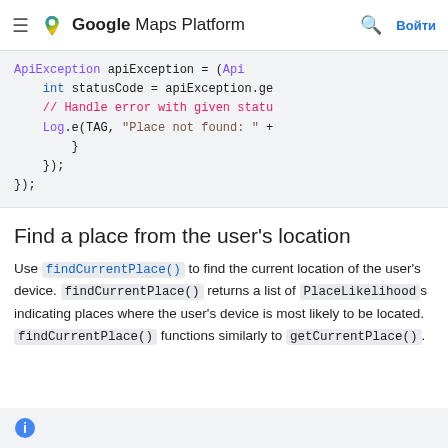Google Maps Platform — Войти
ApiException apiException = (Api
 int statusCode = apiException.ge
// Handle error with given statu
Log.e(TAG, "Place not found: " +
        }
    });
});
Find a place from the user's location
Use findCurrentPlace() to find the current location of the user's device. findCurrentPlace() returns a list of PlaceLikelihoods indicating places where the user's device is most likely to be located. findCurrentPlace() functions similarly to getCurrentPlace().